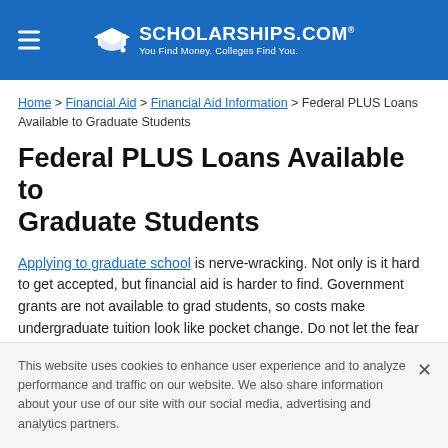SCHOLARSHIPS.COM® — You Find Money. Colleges Find You.
Home > Financial Aid > Financial Aid Information > Federal PLUS Loans Available to Graduate Students
Federal PLUS Loans Available to Graduate Students
Applying to graduate school is nerve-wracking. Not only is it hard to get accepted, but financial aid is harder to find. Government grants are not available to grad students, so costs make undergraduate tuition look like pocket change. Do not let the fear of debt overshadow your goals of
This website uses cookies to enhance user experience and to analyze performance and traffic on our website. We also share information about your use of our site with our social media, advertising and analytics partners.